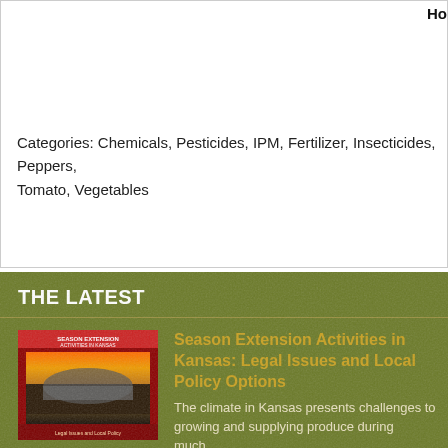Ho
Categories: Chemicals, Pesticides, IPM, Fertilizer, Insecticides, Peppers, Tomato, Vegetables
THE LATEST
[Figure (photo): Book cover of Season Extension Activities in Kansas publication showing greenhouse at sunset]
Season Extension Activities in Kansas: Legal Issues and Local Policy Options
The climate in Kansas presents challenges to growing and supplying produce during much...
[Figure (photo): Photo of blueberry plants with berries]
Blueberry Pruning and Rejuvenation
Introduction Regular pruning is an essential component of blueberry management, yet its importance...